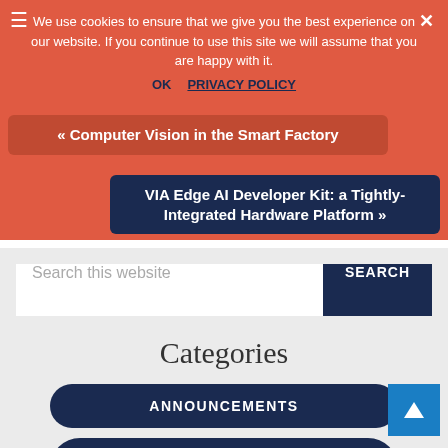We use cookies to ensure that we give you the best experience on our website. If you continue to use this site we will assume that you are happy with it.
OK  PRIVACY POLICY
« Computer Vision in the Smart Factory
VIA Edge AI Developer Kit: a Tightly-Integrated Hardware Platform »
Search this website
SEARCH
Categories
ANNOUNCEMENTS
PERSPECTIVES